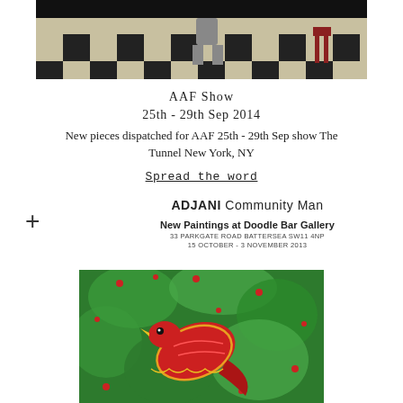[Figure (photo): Photograph showing a person on a black and white checkered floor with a red chair, cropped at top]
AAF Show
25th - 29th Sep 2014
New pieces dispatched for AAF 25th - 29th Sep show The Tunnel New York, NY
Spread the word
ADJANI Community Man
New Paintings at Doodle Bar Gallery
33 PARKGATE ROAD BATTERSEA SW11 4NP
15 OCTOBER - 3 NOVEMBER 2013
[Figure (photo): Colorful painting showing a red bird or figure against a vivid green background with small red berries or dots]